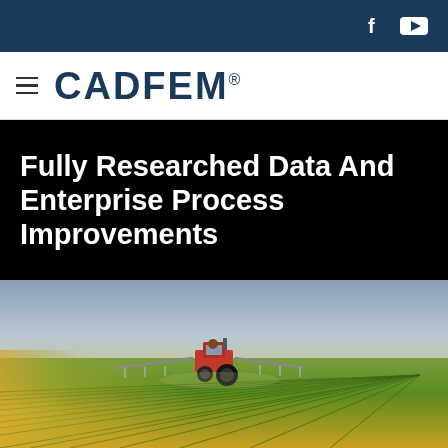CADFEM® — social icons: Facebook, YouTube
[Figure (logo): CADFEM® logo with hamburger menu icon on white navigation bar]
Fully Researched Data And Enterprise Process Improvements
[Figure (photo): A red tractor spraying crops in a large green agricultural field at sunset, perspective lines of crop rows converging to the right]